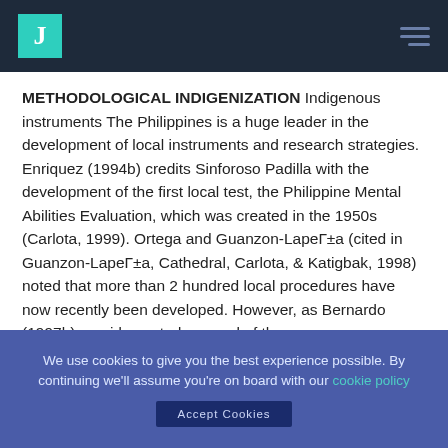J [logo]
METHODOLOGICAL INDIGENIZATION Indigenous instruments The Philippines is a huge leader in the development of local instruments and research strategies. Enriquez (1994b) credits Sinforoso Padilla with the development of the first local test, the Philippine Mental Abilities Evaluation, which was created in the 1950s (Carlota, 1999). Ortega and Guanzon-LapeÑa (cited in Guanzon-LapeÑa, Cathedral, Carlota, & Katigbak, 1998) noted that more than 2 hundred local procedures have now recently been developed. However, as Bernardo (1997b) provides noted, several of these measures never have been defined in published sources, and so they are not readily
We use cookies to give you the best experience possible. By continuing we'll assume you're on board with our cookie policy
Accept Cookies